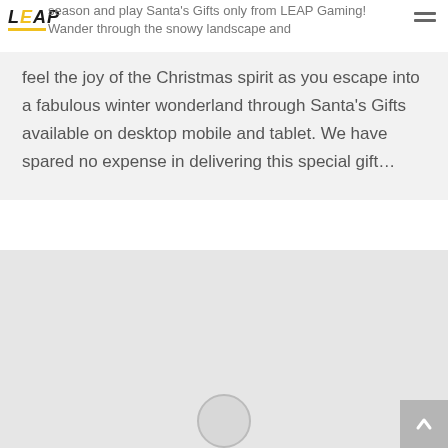LEAP (logo) | season and play Santa's Gifts only from LEAP Gaming! Wander through the snowy landscape and
season and play Santa's Gifts only from LEAP Gaming! Wander through the snowy landscape and feel the joy of the Christmas spirit as you escape into a fabulous winter wonderland through Santa's Gifts available on desktop mobile and tablet. We have spared no expense in delivering this special gift…
[Figure (photo): Large light grey image placeholder area with a circular icon/loading circle at the bottom center, and a scroll-to-top button in the bottom right corner.]